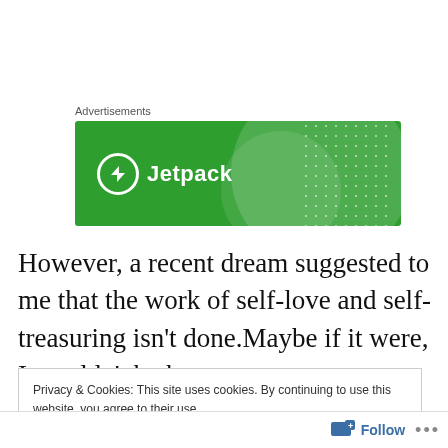Advertisements
[Figure (illustration): Jetpack advertisement banner with green background, white circular logo with lightning bolt, and 'Jetpack' text in white]
However, a recent dream suggested to me that the work of self-love and self-treasuring isn't done.Maybe if it were, I wouldn't be here.
Privacy & Cookies: This site uses cookies. By continuing to use this website, you agree to their use.
To find out more, including how to control cookies, see here: Cookie Policy
Close and accept  Follow ...